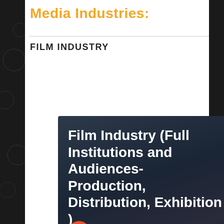Media Industries:
FILM INDUSTRY
[Figure (screenshot): A presentation card with dark blue-grey gradient background showing a slideshow titled 'Film Industry (Full Institutions and Audiences- Production, Distribution, Exhibition )' by Ana-Maria Huluban, dated June 22, 2015, with a blue 'Present' button.]